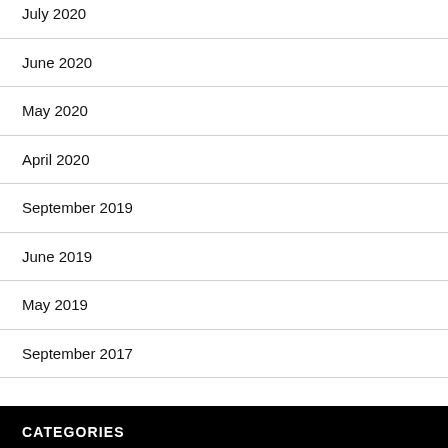July 2020
June 2020
May 2020
April 2020
September 2019
June 2019
May 2019
September 2017
CATEGORIES
Art
Automobile